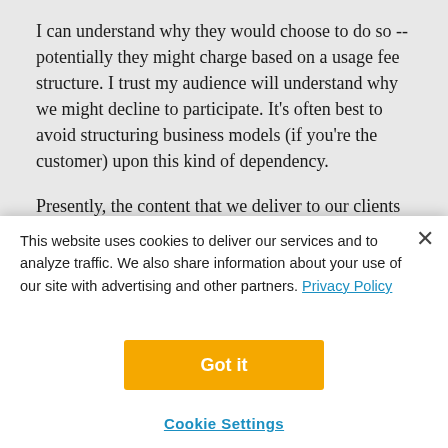I can understand why they would choose to do so -- potentially they might charge based on a usage fee structure. I trust my audience will understand why we might decline to participate. It's often best to avoid structuring business models (if you're the customer) upon this kind of dependency.
Presently, the content that we deliver to our clients is effectively at fixed cost, though not available via wireless service. We could increase the content by an order of magnitude, and it would not materially affect our operating costs.
> As for cellular data vs. WAP, I personally
This website uses cookies to deliver our services and to analyze traffic. We also share information about your use of our site with advertising and other partners. Privacy Policy
Got it
Cookie Settings